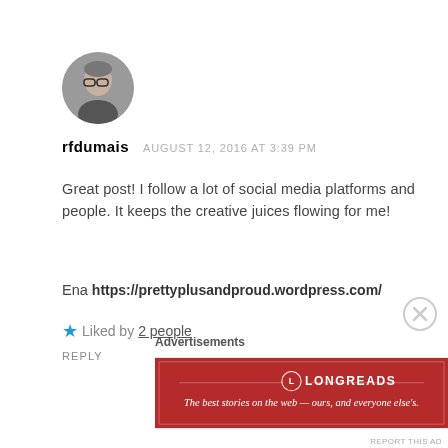[Figure (photo): Circular avatar photo of a person with glasses and short gray hair]
rfdumais   AUGUST 12, 2016 AT 3:39 PM
Great post! I follow a lot of social media platforms and people. It keeps the creative juices flowing for me!
Ena https://prettyplusandproud.wordpress.com/
★ Liked by 2 people
REPLY
[Figure (logo): Close/dismiss button (circle with X)]
Advertisements
[Figure (other): Longreads advertisement banner: The best stories on the web — ours, and everyone else's.]